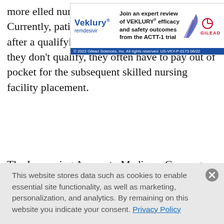more e...lled nursing...harge. Currently, patients can get the benefit only after a qualifying three-day hospital stay. If they don't qualify, they often have to pay out of pocket for the subsequent skilled nursing facility placement.
[Figure (other): Advertisement banner for Veklury (remdesivir) by Gilead Sciences. Text reads: 'Join an expert review of VEKLURY efficacy and safety outcomes from the ACTT-1 trial'. Copyright 2022 Gilead Sciences, Inc. All rights reserved. US-VKY-P-0173 06/22]
The Improving Access to Medicare Coverage Act, introduced by Reps. Joe Courtney (D-Conn.) and Tom Latham (R-Iowa) and Sen. Sherrod Brown (D-Ohio), would allow the time patients spend inside the hospital on "observation status" to count toward their required three-day hospital stay. It also would establish a 90-day appeal period for
This website stores data such as cookies to enable essential site functionality, as well as marketing, personalization, and analytics. By remaining on this website you indicate your consent. Privacy Policy